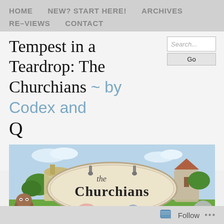HOME   NEW? START HERE!   ARCHIVES   RE-VIEWS   CONTACT
Tempest in a Teardrop: The Churchians ~ by Codex and Q
[Figure (screenshot): Banner image for 'the Churchians' webcomic showing cartoon alien-like creatures in front of a sign reading 'the Churchians' with a colorful village background]
Follow ...